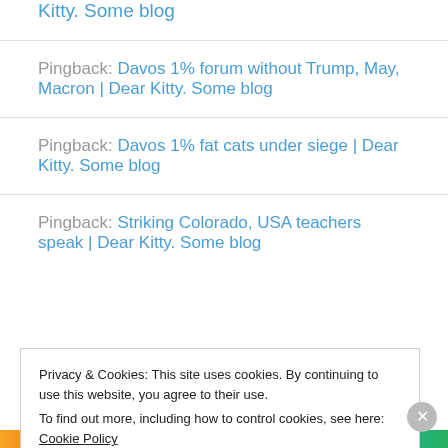Kitty. Some blog
Pingback: Davos 1% forum without Trump, May, Macron | Dear Kitty. Some blog
Pingback: Davos 1% fat cats under siege | Dear Kitty. Some blog
Pingback: Striking Colorado, USA teachers speak | Dear Kitty. Some blog
Privacy & Cookies: This site uses cookies. By continuing to use this website, you agree to their use.
To find out more, including how to control cookies, see here: Cookie Policy
Close and accept